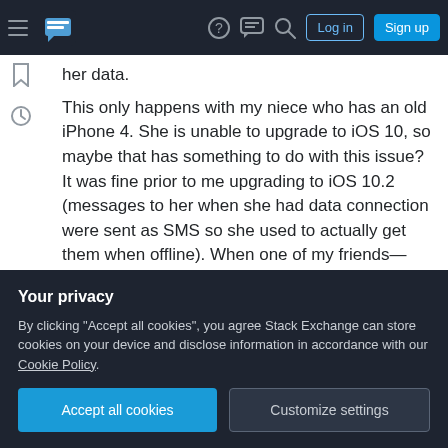Stack Exchange navigation bar with hamburger menu, logo, help, chat, search, Log in, Sign up buttons
her data.
This only happens with my niece who has an old iPhone 4. She is unable to upgrade to iOS 10, so maybe that has something to do with this issue? It was fine prior to me upgrading to iOS 10.2 (messages to her when she had data connection were sent as SMS so she used to actually get them when offline). When one of my friends—who has iOS 10.2—has no internet connection, messages to him are sent as SMS automatically so he actually gets them. How can I get messages to my
Your privacy
By clicking "Accept all cookies", you agree Stack Exchange can store cookies on your device and disclose information in accordance with our Cookie Policy.
Accept all cookies
Customize settings